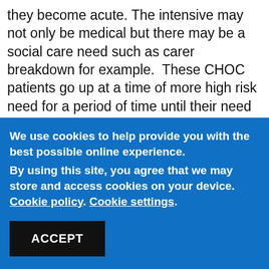they become acute. The intensive may not only be medical but there may be a social care need such as carer breakdown for example.  These CHOC patients go up at a time of more high risk need for a period of time until their need  stabilises and then they go back into the normal system of care .
We use cookies to help provide you with the best possible online experience.
By using this site, you agree that we may store and access cookies on your device. Cookie policy. Cookie settings.